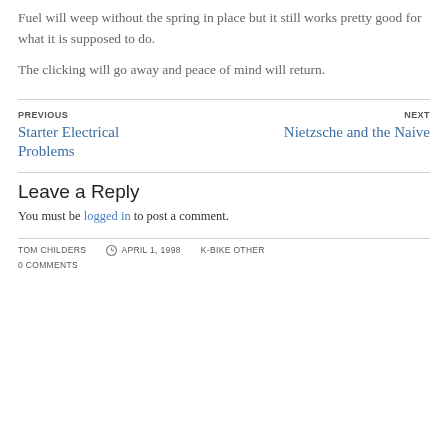Fuel will weep without the spring in place but it still works pretty good for what it is supposed to do.
The clicking will go away and peace of mind will return.
PREVIOUS
Starter Electrical Problems
NEXT
Nietzsche and the Naive
Leave a Reply
You must be logged in to post a comment.
TOM CHILDERS  APRIL 1, 1998  K-BIKE OTHER  0 COMMENTS